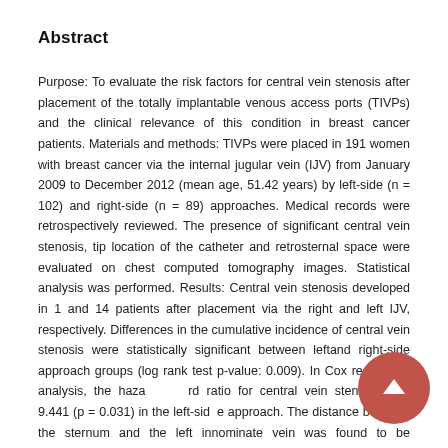Abstract
Purpose: To evaluate the risk factors for central vein stenosis after placement of the totally implantable venous access ports (TIVPs) and the clinical relevance of this condition in breast cancer patients. Materials and methods: TIVPs were placed in 191 women with breast cancer via the internal jugular vein (IJV) from January 2009 to December 2012 (mean age, 51.42 years) by left-side (n = 102) and right-side (n = 89) approaches. Medical records were retrospectively reviewed. The presence of significant central vein stenosis, tip location of the catheter and retrosternal space were evaluated on chest computed tomography images. Statistical analysis was performed. Results: Central vein stenosis developed in 1 and 14 patients after placement via the right and left IJV, respectively. Differences in the cumulative incidence of central vein stenosis were statistically significant between leftand right-side approach groups (log rank test p-value: 0.009). In Cox regression analysis, the hazard ratio for central vein stenosis was 9.441 (p = 0.031) in the left-side approach. The distance between the sternum and the left innominate vein was found to be significantly and independently